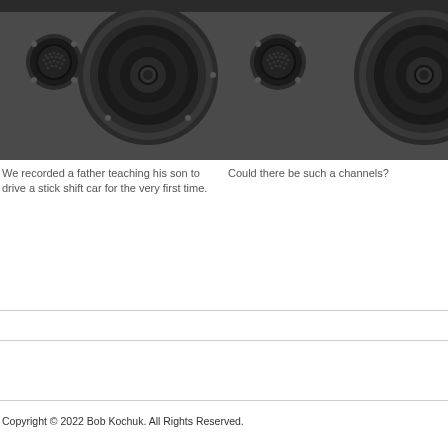[Figure (photo): Close-up photo of studio monitor speaker showing tweeter and woofer cone, dark grey/black finish, left column]
[Figure (photo): Close-up photo of studio monitor speaker showing tweeter and partial woofer, dark grey/black finish, right column (partially cropped)]
We recorded a father teaching his son to drive a stick shift car for the very first time.
Could there be such a channels?
Copyright © 2022 Bob Kochuk. All Rights Reserved.